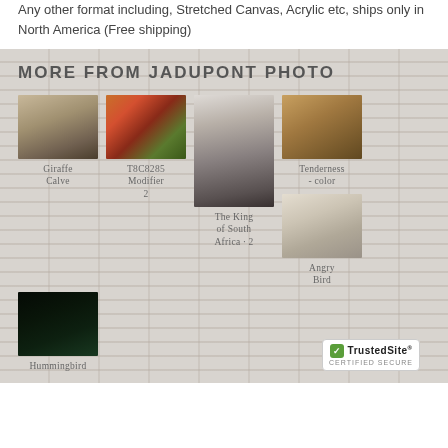Any other format including, Stretched Canvas, Acrylic etc, ships only in North America (Free shipping)
MORE FROM JADUPONT PHOTO
[Figure (photo): Black and white photo of a giraffe calf]
Giraffe Calve
[Figure (photo): Colorful photo of flowers and a bird - T8C8285 Modifier 2]
T8C8285 Modifier 2
[Figure (photo): Black and white portrait of a lion - The King of South Africa 2]
The King of South Africa · 2
[Figure (photo): Color photo of lion cubs - Tenderness color]
Tenderness - color
[Figure (photo): Close-up photo of a gannet bird face - Angry Bird]
Angry Bird
[Figure (photo): Dark photo of a hummingbird]
Hummingbird
[Figure (logo): TrustedSite Certified Secure badge]